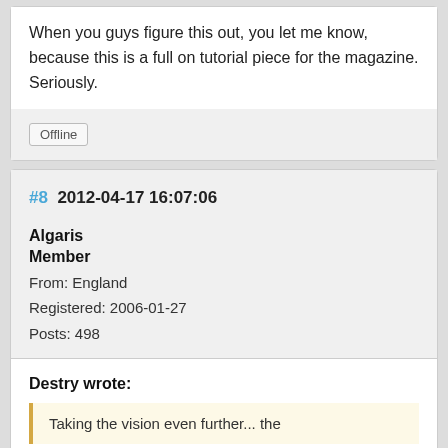When you guys figure this out, you let me know, because this is a full on tutorial piece for the magazine. Seriously.
Offline
#8  2012-04-17 16:07:06
Algaris
Member
From: England
Registered: 2006-01-27
Posts: 498
Destry wrote:
Taking the vision even further... the